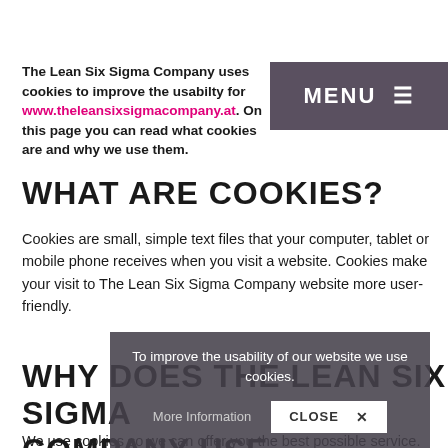The Lean Six Sigma Company uses cookies to improve the usabilty for www.theleansixsigmacompany.at. On this page you can read what cookies are and why we use them.
[Figure (screenshot): MENU navigation button with hamburger icon, dark purple/grey background]
WHAT ARE COOKIES?
Cookies are small, simple text files that your computer, tablet or mobile phone receives when you visit a website. Cookies make your visit to The Lean Six Sigma Company website more user-friendly.
WHY DOES THE LEAN SIX SIGMA COMPANY USE COOKIES?
[Figure (screenshot): Cookie consent overlay with text 'To improve the usability of our website we use cookies.' and buttons 'More Information' and 'CLOSE x']
We use cookies so we can offer you the best possible service. Thanks to cookies, you will receive relevant information and we